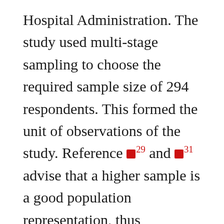Hospital Administration. The study used multi-stage sampling to choose the required sample size of 294 respondents. This formed the unit of observations of the study. Reference [29] and [31] advise that a higher sample is a good population representation, thus minimizing types I and II errors. The researcher developed a semi-structured questionnaire for data collection based on knowledge obtained from a literature review of studies related to ITI and organizational performance [11, 32]. Using the semi-structured questionnaire, the researcher was able to gather both quantitative and qualitative data [29]. This study also used